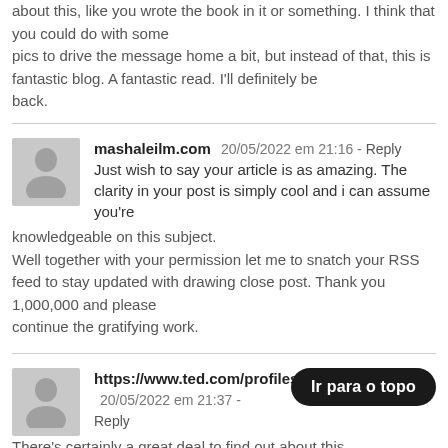about this, like you wrote the book in it or something. I think that you could do with some pics to drive the message home a bit, but instead of that, this is fantastic blog. A fantastic read. I'll definitely be back.
mashaleilm.com  20/05/2022 em 21:16 - Reply
Just wish to say your article is as amazing. The clarity in your post is simply cool and i can assume you're knowledgeable on this subject. Well together with your permission let me to snatch your RSS feed to stay updated with drawing close post. Thank you 1,000,000 and please continue the gratifying work.
https://www.ted.com/profiles/35223559  20/05/2022 em 21:37 - Reply
There's certainly a great deal to find out about this subject.
Ir para o topo